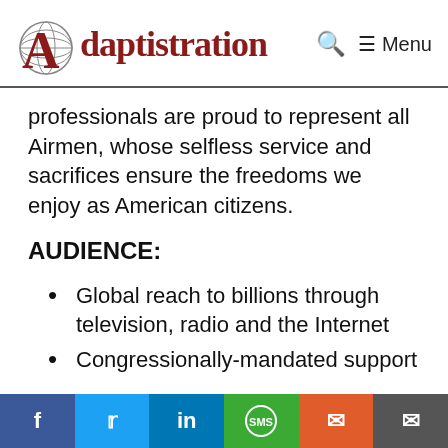Adaptistration  🔍  ≡ Menu
professionals are proud to represent all Airmen, whose selfless service and sacrifices ensure the freedoms we enjoy as American citizens.
AUDIENCE:
Global reach to billions through television, radio and the Internet
Congressionally-mandated support
f  🐦  in  SMS  ✉  ✉